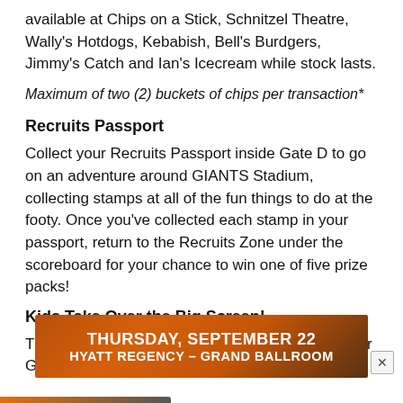available at Chips on a Stick, Schnitzel Theatre, Wally's Hotdogs, Kebabish, Bell's Burdgers, Jimmy's Catch and Ian's Icecream while stock lasts.
Maximum of two (2) buckets of chips per transaction*
Recruits Passport
Collect your Recruits Passport inside Gate D to go on an adventure around GIANTS Stadium, collecting stamps at all of the fun things to do at the footy. Once you've collected each stamp in your passport, return to the Recruits Zone under the scoreboard for your chance to win one of five prize packs!
Kids Take Over the Big Screen!
The kids have taken over the big screen! Our junior GIANTS
[Figure (infographic): Orange banner advertisement: THURSDAY, SEPTEMBER 22 / HYATT REGENCY – GRAND BALLROOM with a close button (X)]